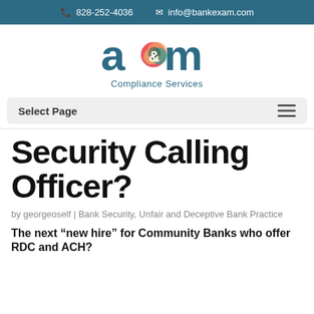828-252-4036  info@bankexam.com
[Figure (logo): A&M Compliance Services logo with colorful ampersand icon and teal lettering]
Select Page
Security Calling Officer?
by georgeoself | Bank Security, Unfair and Deceptive Bank Practice
The next “new hire” for Community Banks who offer RDC and ACH?